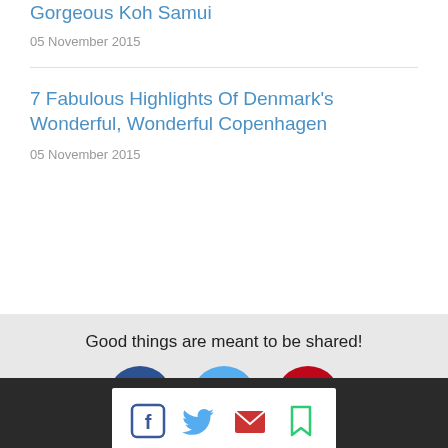Gorgeous Koh Samui
05 November 2015
7 Fabulous Highlights Of Denmark’s Wonderful, Wonderful Copenhagen
05 November 2015
Good things are meant to be shared!
[Figure (infographic): Social share icons: Facebook (dark blue circle), Twitter (light blue circle), Pinterest (dark red circle)]
[Figure (infographic): Bottom bar social icons: Facebook (blue square outline), Twitter (blue bird), Email (red envelope), Bookmark (green bookmark)]